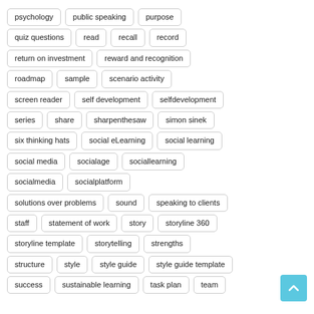psychology
public speaking
purpose
quiz questions
read
recall
record
return on investment
reward and recognition
roadmap
sample
scenario activity
screen reader
self development
selfdevelopment
series
share
sharpenthesaw
simon sinek
six thinking hats
social eLearning
social learning
social media
socialage
sociallearning
socialmedia
socialplatform
solutions over problems
sound
speaking to clients
staff
statement of work
story
storyline 360
storyline template
storytelling
strengths
structure
style
style guide
style guide template
success
sustainable learning
task plan
team